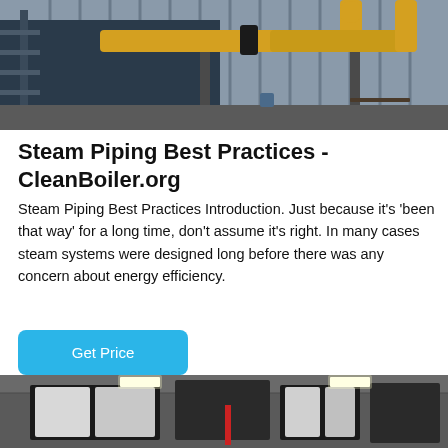[Figure (photo): Industrial boiler room exterior with yellow pipes and metal structure against corrugated metal wall]
Steam Piping Best Practices - CleanBoiler.org
Steam Piping Best Practices Introduction. Just because it's 'been that way' for a long time, don't assume it's right. In many cases steam systems were designed long before there was any concern about energy efficiency.
Get Price
[Figure (photo): Interior industrial space showing large black ductwork and pipe systems mounted to ceiling with bright lighting]